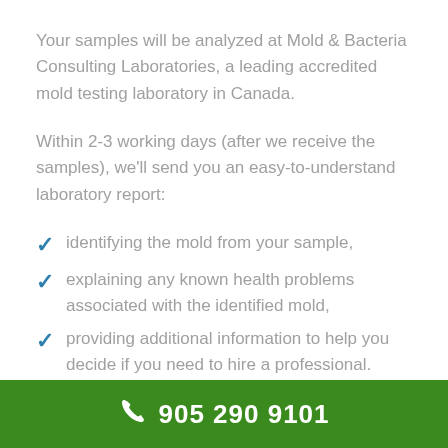Your samples will be analyzed at Mold & Bacteria Consulting Laboratories, a leading accredited mold testing laboratory in Canada.
Within 2-3 working days (after we receive the samples), we'll send you an easy-to-understand laboratory report:
identifying the mold from your sample,
explaining any known health problems associated with the identified mold,
providing additional information to help you decide if you need to hire a professional.
905 290 9101